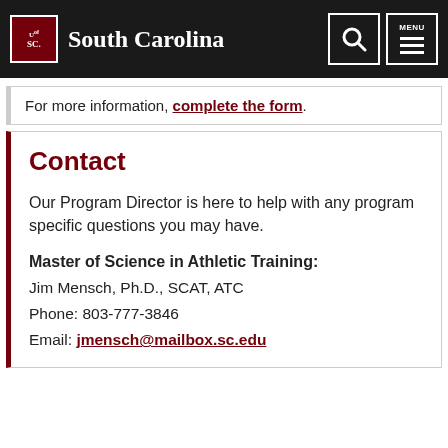University of South Carolina — South Carolina
For more information, complete the form.
Contact
Our Program Director is here to help with any program specific questions you may have.
Master of Science in Athletic Training:
Jim Mensch, Ph.D., SCAT, ATC
Phone: 803-777-3846
Email: jmensch@mailbox.sc.edu